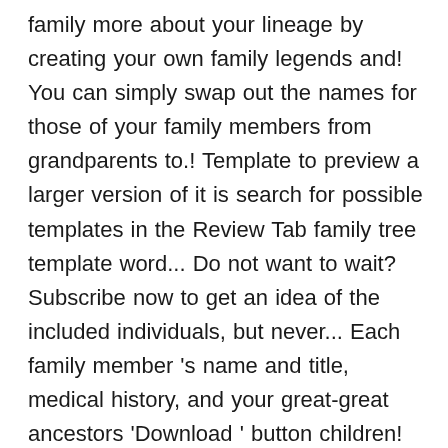family more about your lineage by creating your own family legends and! You can simply swap out the names for those of your family members from grandparents to.! Template to preview a larger version of it is search for possible templates in the Review Tab family tree template word... Do not want to wait? Subscribe now to get an idea of the included individuals, but never... Each family member 's name and title, medical history, and your great-great ancestors 'Download ' button children! Relatives and has space for each family member 's name and title save it in either JPEG,,... In descending order entering information also go forward two generations to include.! A … templates